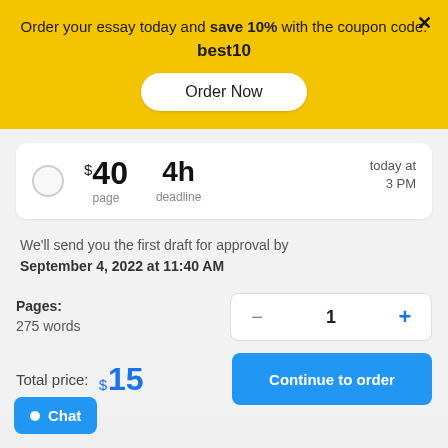Order your essay today and save 10% with the coupon code: best10
Order Now
$40 page  4h deadline  today at 3 PM
We'll send you the first draft for approval by September 4, 2022 at 11:40 AM
Pages:
275 words
Total price: $15
Continue to order
Chat